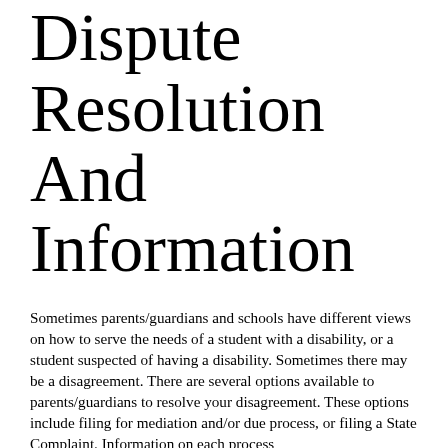Dispute Resolution and Information
Sometimes parents/guardians and schools have different views on how to serve the needs of a student with a disability, or a student suspected of having a disability. Sometimes there may be a disagreement. There are several options available to parents/guardians to resolve your disagreement. These options include filing for mediation and/or due process, or filing a State Complaint. Information on each process